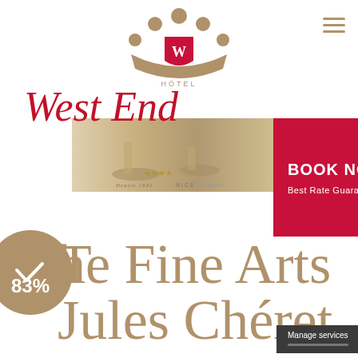[Figure (logo): Hotel West End crown logo with crimson shield crest, gold crown with dots, HÔTEL label, and cursive red 'West End' script text]
[Figure (photo): Hotel exterior or fountain photo strip showing gold/bronze statuary, labeled 'Depuis 1842 NICE @misterrivi...']
[Figure (other): Crimson 'BOOK NOW / Best Rate Guaranteed' call-to-action box]
[Figure (infographic): Gold circle badge showing checkmark and '83%']
The Fine Arts Jules Chéret Museum
Manage services